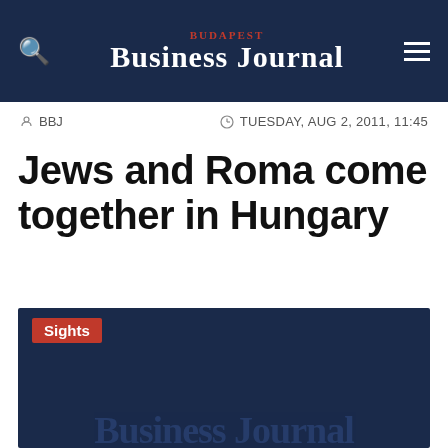Budapest Business Journal
BBJ   TUESDAY, AUG 2, 2011, 11:45
Jews and Roma come together in Hungary
[Figure (screenshot): Dark navy blue image area with red 'Sights' label tag in the top-left corner, overlaid by a cookie consent banner reading 'This website uses cookies to ensure you get the best experience on our website. Learn more' with Decline and Allow cookies buttons.]